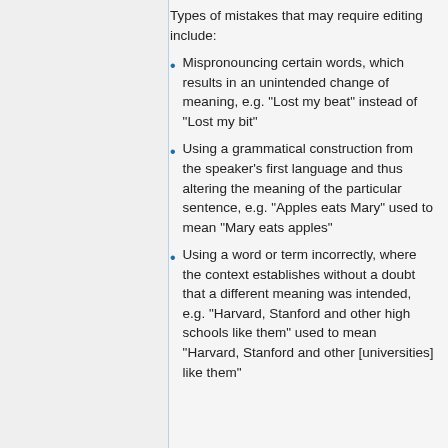Types of mistakes that may require editing include:
Mispronouncing certain words, which results in an unintended change of meaning, e.g. "Lost my beat" instead of "Lost my bit"
Using a grammatical construction from the speaker's first language and thus altering the meaning of the particular sentence, e.g. "Apples eats Mary" used to mean "Mary eats apples"
Using a word or term incorrectly, where the context establishes without a doubt that a different meaning was intended, e.g. "Harvard, Stanford and other high schools like them" used to mean "Harvard, Stanford and other [universities] like them"